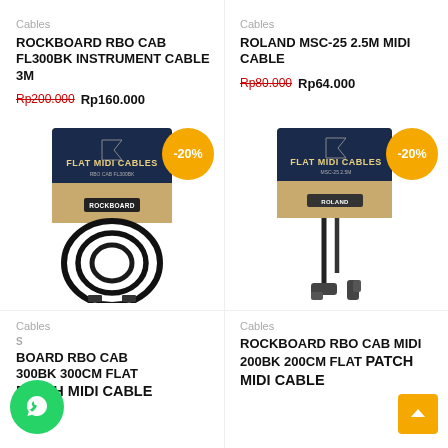Cables
ROCKBOARD RBO CAB FL300BK INSTRUMENT CABLE 3M
Rp200.000 Rp160.000
[Figure (photo): Rockboard RBO Cab FL300BK instrument cable coiled in black packaging with -20% badge]
Cables
ROLAND MSC-25 2.5M MIDI CABLE
Rp80.000 Rp64.000
[Figure (photo): Roland MSC-25 2.5M MIDI cable with right-angle connector in black packaging with -20% badge]
Cables
ROCKBOARD RBO CAB MIDI 300BK 300CM FLAT PATCH MIDI CABLE
Cables
ROCKBOARD RBO CAB MIDI 200BK 200CM FLAT PATCH MIDI CABLE